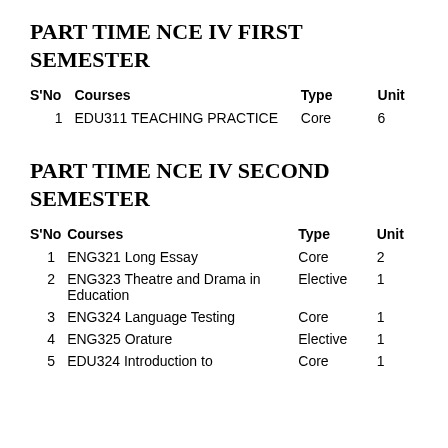PART TIME NCE IV FIRST SEMESTER
| S'No | Courses | Type | Unit |
| --- | --- | --- | --- |
| 1 | EDU311 TEACHING PRACTICE | Core | 6 |
PART TIME NCE IV SECOND SEMESTER
| S'No | Courses | Type | Unit |
| --- | --- | --- | --- |
| 1 | ENG321 Long Essay | Core | 2 |
| 2 | ENG323 Theatre and Drama in Education | Elective | 1 |
| 3 | ENG324 Language Testing | Core | 1 |
| 4 | ENG325 Orature | Elective | 1 |
| 5 | EDU324 Introduction to | Core | 1 |